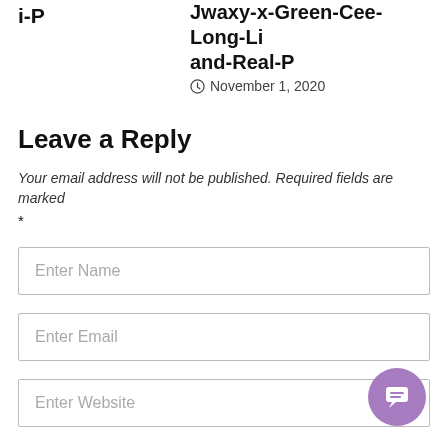i-P
Jwaxy-x-Green-Cee-Long-Li and-Real-P
November 1, 2020
Leave a Reply
Your email address will not be published. Required fields are marked *
Enter Name
Enter Email
Enter Website